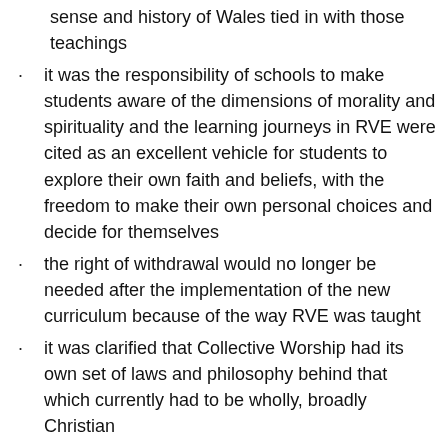sense and history of Wales tied in with those teachings
it was the responsibility of schools to make students aware of the dimensions of morality and spirituality and the learning journeys in RVE were cited as an excellent vehicle for students to explore their own faith and beliefs, with the freedom to make their own personal choices and decide for themselves
the right of withdrawal would no longer be needed after the implementation of the new curriculum because of the way RVE was taught
it was clarified that Collective Worship had its own set of laws and philosophy behind that which currently had to be wholly, broadly Christian
teacher representatives reported upon the plans and